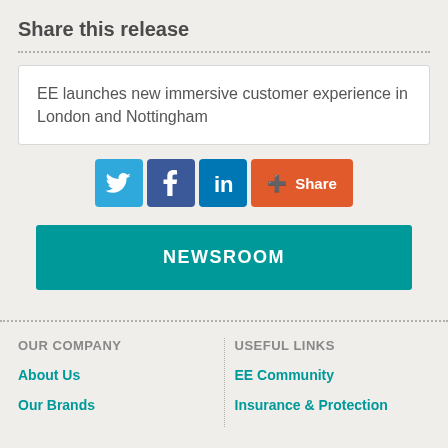Share this release
EE launches new immersive customer experience in London and Nottingham
[Figure (infographic): Social sharing buttons: Twitter (blue bird icon), Facebook (blue f icon), LinkedIn (blue 'in' icon), and an orange '+Share' button]
NEWSROOM
OUR COMPANY
About Us
Our Brands
USEFUL LINKS
EE Community
Insurance & Protection